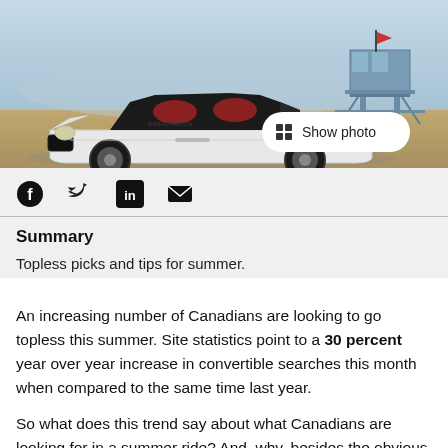[Figure (photo): White Range Rover Evoque convertible parked on a sandy beach with a lifeguard tower in the background and a hazy sky. A 'Show photo' button is overlaid on the bottom right.]
Show photo
[Figure (infographic): Social media sharing icons: Facebook, Twitter, LinkedIn, Email]
Summary
Topless picks and tips for summer.
An increasing number of Canadians are looking to go topless this summer. Site statistics point to a 30 percent year over year increase in convertible searches this month when compared to the same time last year.
So what does this trend say about what Canadians are looking for in a summer ride? And, why, besides the obvious hair